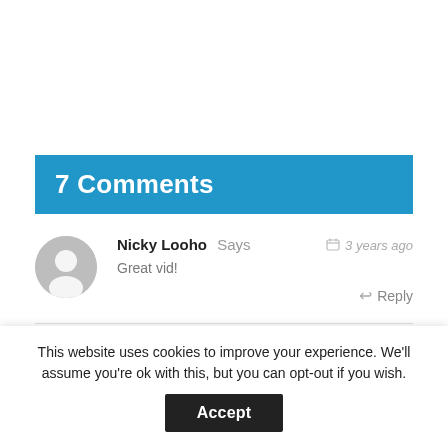7 Comments
Nicky Looho Says
3 years ago
Great vid!
Reply
This website uses cookies to improve your experience. We'll assume you're ok with this, but you can opt-out if you wish. Accept